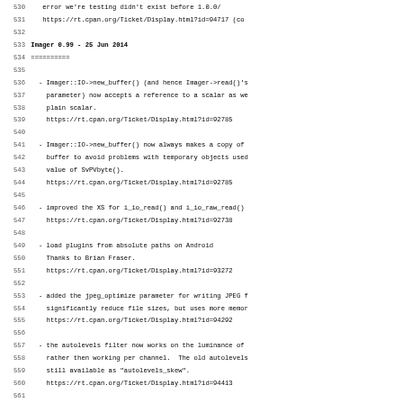Lines 530-562 of a Perl Imager module changelog showing version 0.99 release notes dated 25 Jun 2014, listing bug fixes and improvements with RT CPAN ticket references.